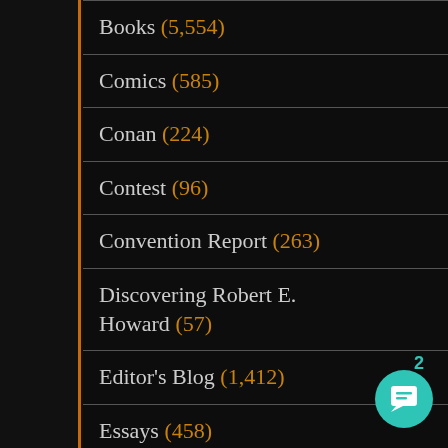Books (5,554)
Comics (585)
Conan (224)
Contest (96)
Convention Report (263)
Discovering Robert E. Howard (57)
Editor's Blog (1,412)
Essays (458)
Fashion (12)
Fiction (213)